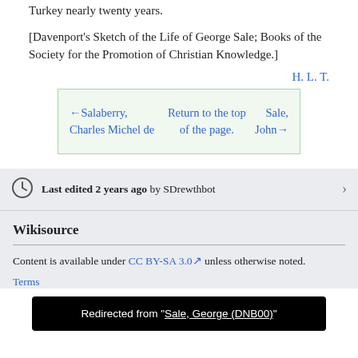Turkey nearly twenty years.
[Davenport's Sketch of the Life of George Sale; Books of the Society for the Promotion of Christian Knowledge.]
H. L. T.
| ←Salaberry, Charles Michel de | Return to the top of the page. | Sale, John→ |
Last edited 2 years ago by SDrewthbot
Wikisource
Content is available under CC BY-SA 3.0 unless otherwise noted.
Terms of Use · Privacy policy
Redirected from "Sale, George (DNB00)"